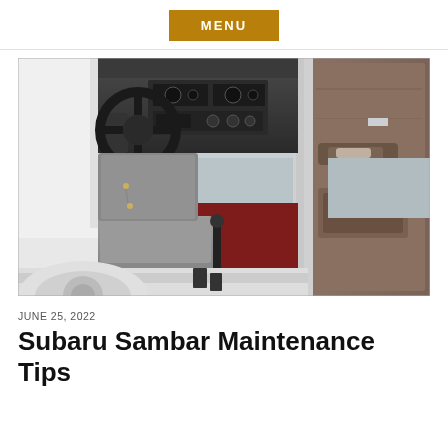MENU
[Figure (photo): Interior view of a Subaru Sambar mini truck showing the driver seat, steering wheel, dashboard with instrument cluster and radio, gear shifter, brown door panel with handle, and red floor mat. The door is open and a parking area is visible in the background.]
JUNE 25, 2022
Subaru Sambar Maintenance Tips